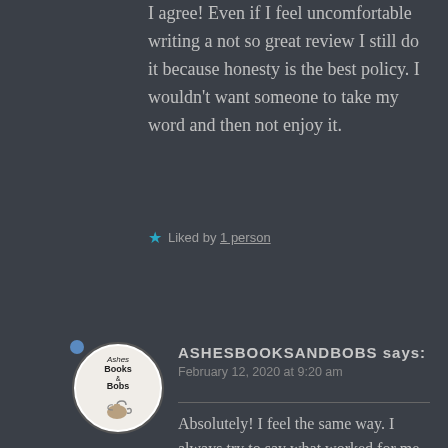I agree! Even if I feel uncomfortable writing a not so great review I still do it because honesty is the best policy. I wouldn't want someone to take my word and then not enjoy it.
★ Liked by 1 person
[Figure (logo): Circular avatar for Ashes Books & Bobs blog with text and teapot icon]
ASHESBOOKSANDBOBS says: February 12, 2020 at 9:20 am
Absolutely! I feel the same way. I always try to say what worked for me, and respectfully, what didn't in my reviews.